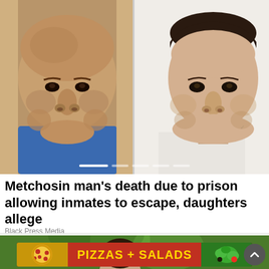[Figure (photo): Two mugshot-style photos side by side: left shows a bald Hispanic man in a blue shirt; right shows a younger man with neck tattoos against a white background. A slider indicator bar is visible at the bottom of the photo strip.]
Metchosin man’s death due to prison allowing inmates to escape, daughters allege
Black Press Media
[Figure (photo): Top portion of a second news article image showing a green outdoor background with partial view of a person.]
[Figure (infographic): Advertisement banner reading 'PIZZAS + SALADS' in bold yellow text on a dark red/maroon background, flanked by images of pizza on the left and salad on the right.]